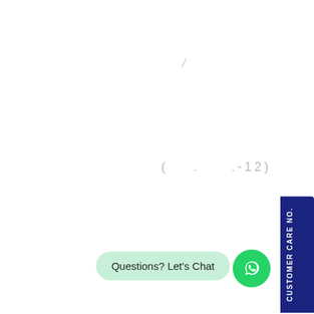/
( . .-12)
Questions? Let's Chat
CUSTOMER CARE NO.